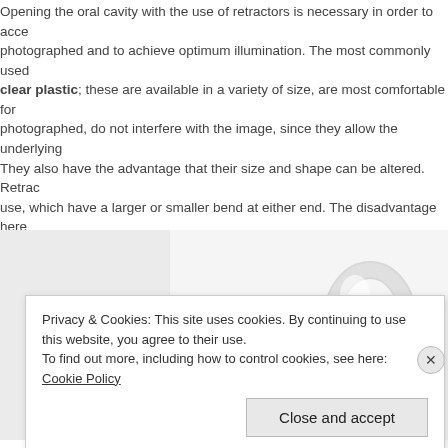Opening the oral cavity with the use of retractors is necessary in order to access the area to be photographed and to achieve optimum illumination. The most commonly used retractors are made of clear plastic; these are available in a variety of size, are most comfortable for the patient when photographed, do not interfere with the image, since they allow the underlying tissues to show through. They also have the advantage that their size and shape can be altered. Retractors also in use, which have a larger or smaller bend at either end. The disadvantage here is that the form is not held and that the highly polished metal can cause reflections. Lip retractors are not recommended, since the reflections from them cannot be controlled and also cause incorrect exposures when using flash, because the flash sensor can also react to reflections.
[Figure (photo): Photo showing two types of oral retractors: a metal retractor (dark gray/silver, fork-shaped) on the left, and a clear plastic retractor on the right, both on a white reflective surface.]
Privacy & Cookies: This site uses cookies. By continuing to use this website, you agree to their use. To find out more, including how to control cookies, see here: Cookie Policy
Close and accept